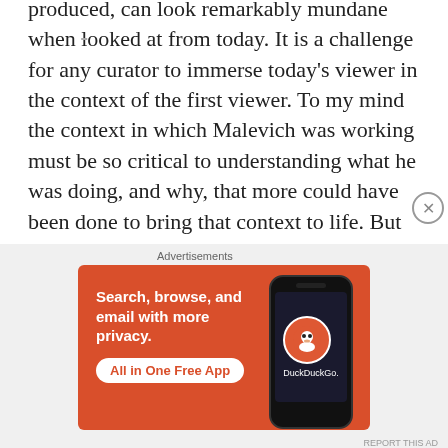produced, can look remarkably mundane when looked at from today. It is a challenge for any curator to immerse today's viewer in the context of the first viewer. To my mind the context in which Malevich was working must be so critical to understanding what he was doing, and why, that more could have been done to bring that context to life. But take that as small criticism of an extremely interesting exhibition.
Share this:
[Figure (other): DuckDuckGo advertisement banner with orange background, text 'Search, browse, and email with more privacy. All in One Free App', and a phone showing the DuckDuckGo logo]